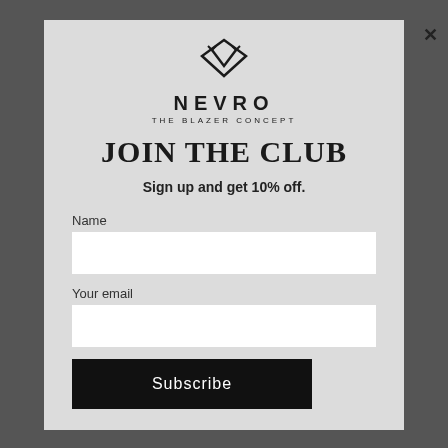[Figure (logo): NEVRO logo — a stylized V with arrow tips forming a diamond/chevron shape above the brand name]
JOIN THE CLUB
Sign up and get 10% off.
Name
Your email
Subscribe